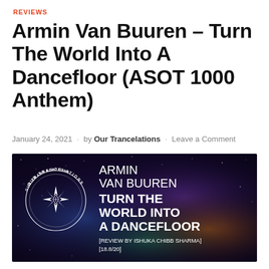REVIEWS
Armin Van Buuren – Turn The World Into A Dancefloor (ASOT 1000 Anthem)
January 24, 2021 · by Our Trancelations · Leave a Comment
[Figure (illustration): Album review artwork showing a galaxy/nebula space background with the Our Trancelations logo (crescent moon with star compass rose) on the left, and white bold text reading: ARMIN VAN BUUREN TURN THE WORLD INTO A DANCEFLOOR [REVIEW BY ISHUKA CHIBB SHARMA] [18.8/20]]